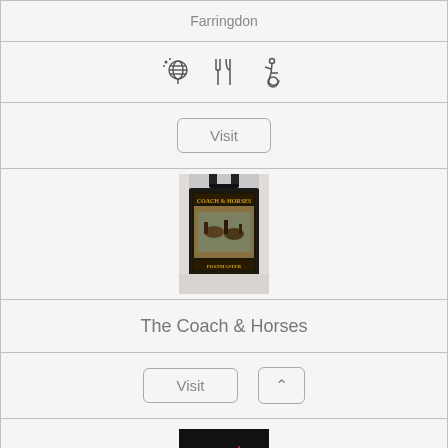Farringdon
[Figure (infographic): Row with three icons: disco ball, restaurant/utensils, wheelchair accessibility]
[Figure (other): Visit button (rounded rectangle)]
[Figure (photo): Photo of a pub sign for The Coach & Horses]
The Coach & Horses
[Figure (other): Visit button and up-arrow button]
[Figure (photo): Placeholder image reading Awaiting Image with fireworks background]